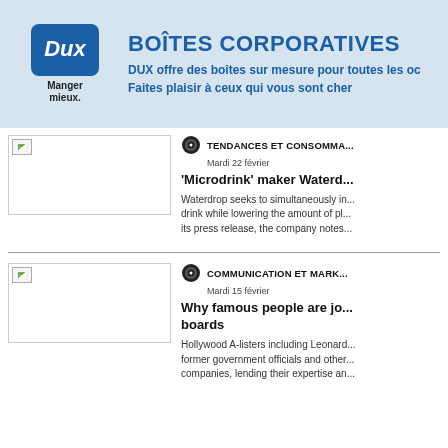[Figure (logo): DUX logo with blue flag background and text 'Manger mieux.' below]
BOÎTES CORPORATIVES
DUX offre des boîtes sur mesure pour toutes les oc...
Faites plaisir à ceux qui vous sont cher
[Figure (photo): Thumbnail image placeholder for first article]
TENDANCES ET CONSOMMA...
Mardi 22 février
'Microdrink' maker Waterd...
Waterdrop seeks to simultaneously in... drink while lowering the amount of pl... its press release, the company notes...
[Figure (photo): Thumbnail image placeholder for second article]
COMMUNICATION ET MARK...
Mardi 15 février
Why famous people are jo... boards
Hollywood A-listers including Leonard... former government officials and other... companies, lending their expertise an...